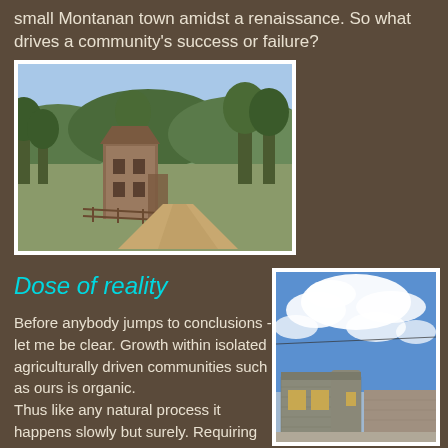small Montanan town amidst a renaissance. So what drives a community's success or failure?
[Figure (photo): Abandoned brick building along a dirt path surrounded by green trees and hills in a rural Montana landscape]
Dose of reality
Before anybody jumps to conclusions - let me be clear. Growth within isolated agriculturally driven communities such as ours is organic. Thus like any natural process it happens slowly but surely. Requiring all involved to persevere...
[Figure (photo): Blue sky with white clouds above historic stone/brick building in a small town, viewed from below]